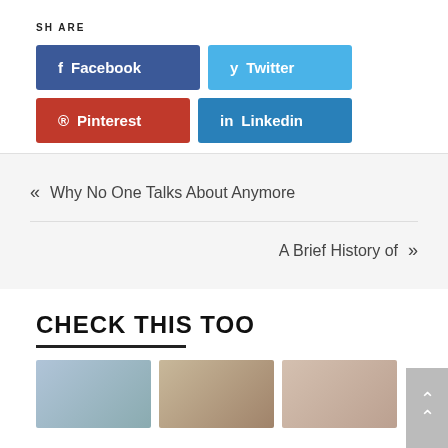SHARE
Facebook  Twitter  Pinterest  Linkedin
« Why No One Talks About Anymore
A Brief History of »
CHECK THIS TOO